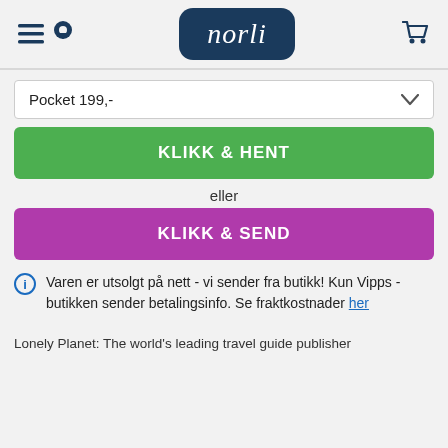[Figure (logo): Norli bookstore logo: dark teal rounded rectangle with white italic serif text 'norli'. Navigation icons: hamburger menu, location pin on left; shopping cart on right.]
Pocket 199,-
KLIKK & HENT
eller
KLIKK & SEND
Varen er utsolgt på nett - vi sender fra butikk! Kun Vipps - butikken sender betalingsinfo. Se fraktkostnader her
Lonely Planet: The world's leading travel guide publisher